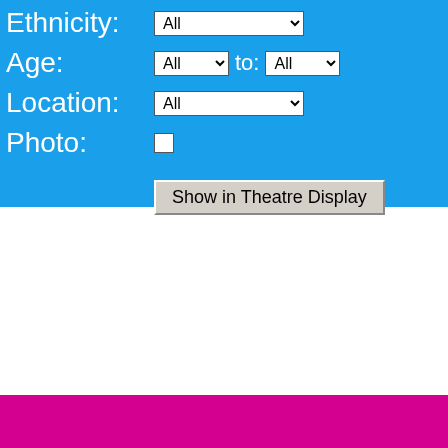Ethnicity:
Age:
Location:
Photo:
Show in Theatre Display